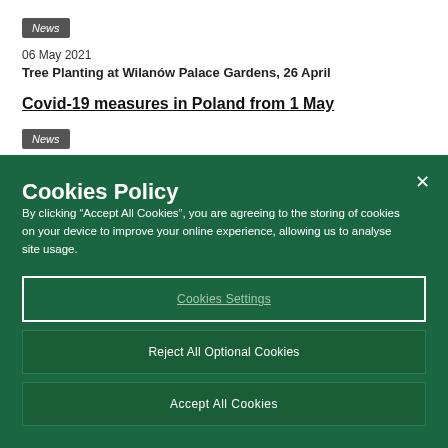News
06 May 2021
Tree Planting at Wilanów Palace Gardens, 26 April
Covid-19 measures in Poland from 1 May
News
Cookies Policy
By clicking “Accept All Cookies”, you are agreeing to the storing of cookies on your device to improve your online experience, allowing us to analyse site usage.
Cookies Settings
Reject All Optional Cookies
Accept All Cookies